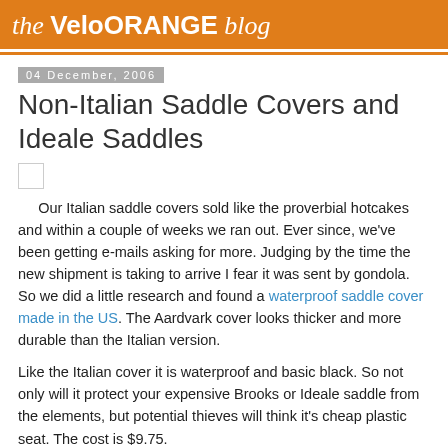the VeloORANGE blog
04 December, 2006
Non-Italian Saddle Covers and Ideale Saddles
[Figure (other): Small image placeholder (broken/loading image icon)]
Our Italian saddle covers sold like the proverbial hotcakes and within a couple of weeks we ran out. Ever since, we've been getting e-mails asking for more. Judging by the time the new shipment is taking to arrive I fear it was sent by gondola. So we did a little research and found a waterproof saddle cover made in the US. The Aardvark cover looks thicker and more durable than the Italian version.
Like the Italian cover it is waterproof and basic black. So not only will it protect your expensive Brooks or Ideale saddle from the elements, but potential thieves will think it's cheap plastic seat. The cost is $9.75.